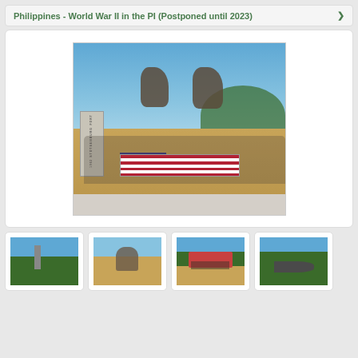Philippines - World War II in the PI (Postponed until 2023)
[Figure (photo): Group photo of tourists standing in front of the Fort Stotsenburg monument and equestrian statues, holding an American flag]
[Figure (photo): Thumbnail: group at a tower or church]
[Figure (photo): Thumbnail: group at statues]
[Figure (photo): Thumbnail: group under a red-roofed shelter]
[Figure (photo): Thumbnail: cannons in a green setting]